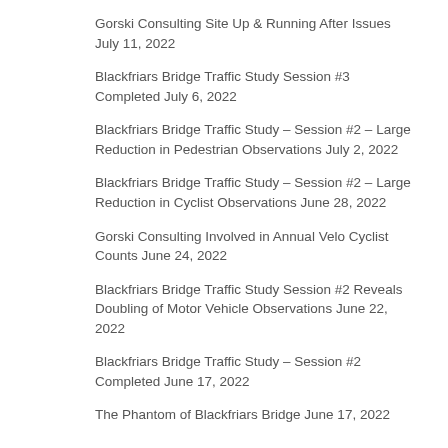Gorski Consulting Site Up & Running After Issues July 11, 2022
Blackfriars Bridge Traffic Study Session #3 Completed July 6, 2022
Blackfriars Bridge Traffic Study – Session #2 – Large Reduction in Pedestrian Observations July 2, 2022
Blackfriars Bridge Traffic Study – Session #2 – Large Reduction in Cyclist Observations June 28, 2022
Gorski Consulting Involved in Annual Velo Cyclist Counts June 24, 2022
Blackfriars Bridge Traffic Study Session #2 Reveals Doubling of Motor Vehicle Observations June 22, 2022
Blackfriars Bridge Traffic Study – Session #2 Completed June 17, 2022
The Phantom of Blackfriars Bridge June 17, 2022